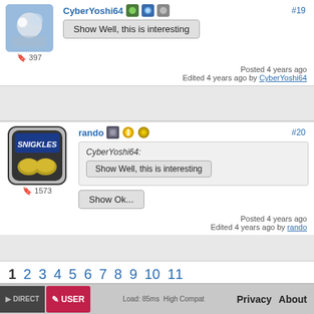CyberYoshi64 #19
Show Well, this is interesting
Posted 4 years ago
Edited 4 years ago by CyberYoshi64
rando #20
CyberYoshi64:
Show Well, this is interesting
Show Ok...
Posted 4 years ago
Edited 4 years ago by rando
1 2 3 4 5 6 7 8 9 10 11
Load: 85ms  High Compat   Privacy   About